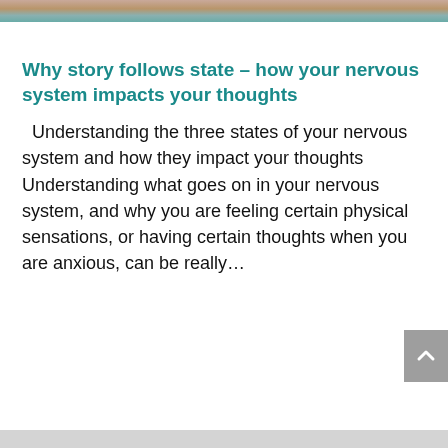[Figure (photo): Partial photo strip at top of page showing people, cropped]
Why story follows state – how your nervous system impacts your thoughts
Understanding the three states of your nervous system and how they impact your thoughts   Understanding what goes on in your nervous system, and why you are feeling certain physical sensations, or having certain thoughts when you are anxious, can be really…